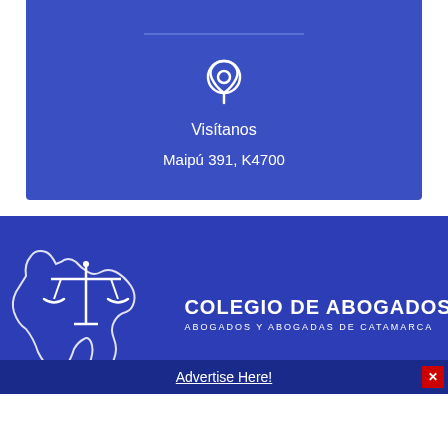[Figure (illustration): Location pin icon in white on blue background]
Visítanos
Maipú 391, K4700
[Figure (logo): Colegio de Abogados logo with scales of justice and map of Catamarca province outline in white on dark blue background]
COLEGIO DE ABOGADOS
ABOGADOS Y ABOGADAS DE CATAMARCA
Advertise Here!